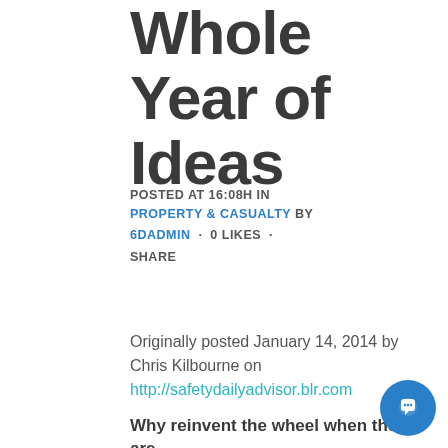Whole Year of Ideas
POSTED AT 16:08H IN PROPERTY & CASUALTY BY 6DADMIN · 0 LIKES · SHARE
Originally posted January 14, 2014 by Chris Kilbourne on http://safetydailyadvisor.blr.com
Why reinvent the wheel when there are